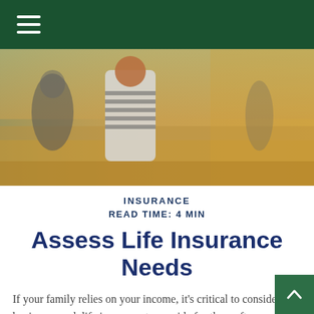Navigation menu header bar
[Figure (photo): Family with children running through a sunny golden field, outdoor scene with warm tones]
INSURANCE
READ TIME: 4 MIN
Assess Life Insurance Needs
If your family relies on your income, it's critical to consider having enough life insurance to provide for them after you pass away. But too often, life insurance is an overlooked aspect of personal finances.